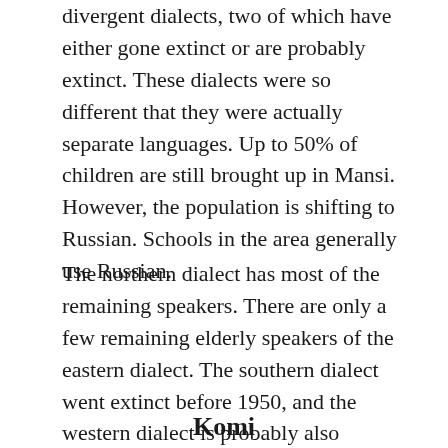divergent dialects, two of which have either gone extinct or are probably extinct. These dialects were so different that they were actually separate languages. Up to 50% of children are still brought up in Mansi. However, the population is shifting to Russian. Schools in the area generally use Russian.
The northern dialect has most of the remaining speakers. There are only a few remaining elderly speakers of the eastern dialect. The southern dialect went extinct before 1950, and the western dialect is probably also extinct.
Komi